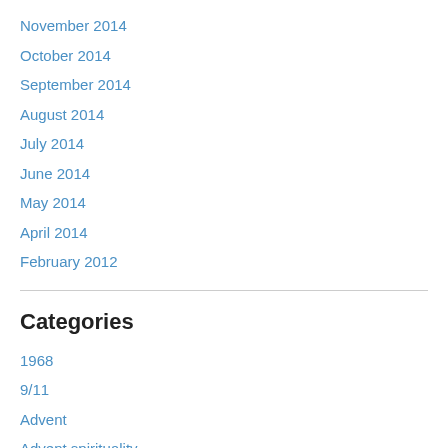November 2014
October 2014
September 2014
August 2014
July 2014
June 2014
May 2014
April 2014
February 2012
Categories
1968
9/11
Advent
Advent spirituality
Alt Right
Alternative worship
American art